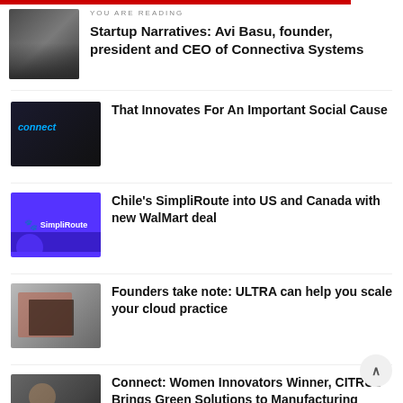YOU ARE READING
Startup Narratives: Avi Basu, founder, president and CEO of Connectiva Systems
That Innovates For An Important Social Cause
Chile's SimpliRoute into US and Canada with new WalMart deal
Founders take note: ULTRA can help you scale your cloud practice
Connect: Women Innovators Winner, CITRUS Brings Green Solutions to Manufacturing